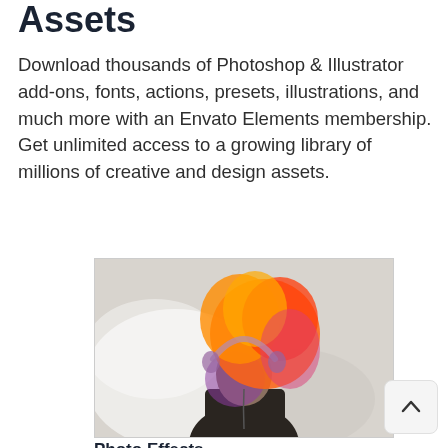Assets
Download thousands of Photoshop & Illustrator add-ons, fonts, actions, presets, illustrations, and much more with an Envato Elements membership. Get unlimited access to a growing library of millions of creative and design assets.
[Figure (photo): A woman with colorful curly hair (orange, red, purple gradient) wearing headphones, double-exposure style photo with artistic light effects against a light background.]
Photo Effects